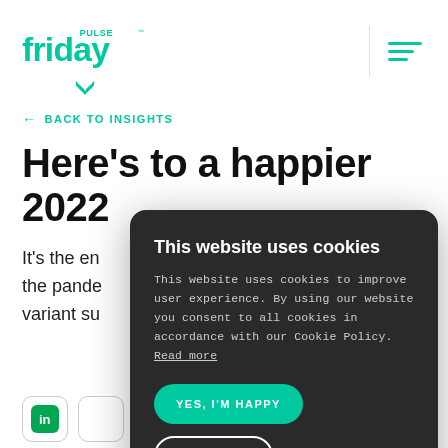[Figure (logo): Friday Pulse logo in teal/green with 'PULSE' above and trademark symbol]
← BACK TO INSIGHTS
Here's to a happier 2022
It's the en... the pande... variant su...
[Figure (screenshot): Cookie consent modal overlay with dark background. Title: 'This website uses cookies'. Body: 'This website uses cookies to improve user experience. By using our website you consent to all cookies in accordance with our Cookie Policy. Read more'. Two buttons: 'YES, I'M HAPPY' (teal) and 'NO THANKS' (outline).]